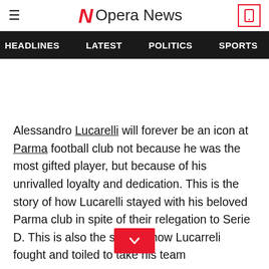Opera News
HEADLINES  LATEST  POLITICS  SPORTS
Alessandro Lucarelli will forever be an icon at Parma football club not because he was the most gifted player, but because of his unrivalled loyalty and dedication. This is the story of how Lucarelli stayed with his beloved Parma club in spite of their relegation to Serie D. This is also the story of how Lucarreli fought and toiled to take his team back into the first division.